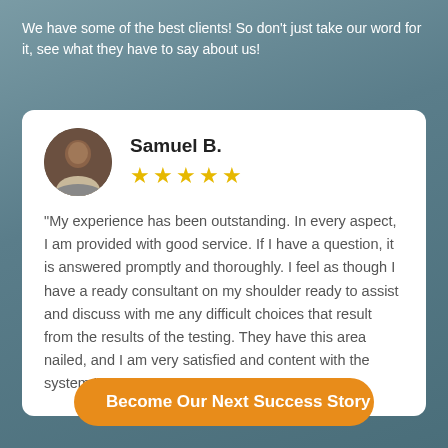We have some of the best clients! So don't just take our word for it, see what they have to say about us!
[Figure (photo): Round avatar photo of Samuel B., a person in business attire]
Samuel B.
★★★★★ (5 stars)
"My experience has been outstanding. In every aspect, I am provided with good service. If I have a question, it is answered promptly and thoroughly. I feel as though I have a ready consultant on my shoulder ready to assist and discuss with me any difficult choices that result from the results of the testing. They have this area nailed, and I am very satisfied and content with the system."
Become Our Next Success Story